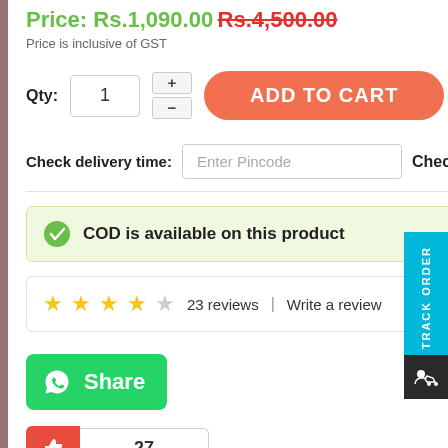Price: Rs.1,090.00 Rs.4,500.00
Price is inclusive of GST
Qty: 1  ADD TO CART
Check delivery time:  Enter Pincode  Check
COD is available on this product
★★★★☆ 23 reviews | Write a review
[Figure (other): WhatsApp Share button]
27
Tags: wooden printed photo collage with clock wc-007, anniversary